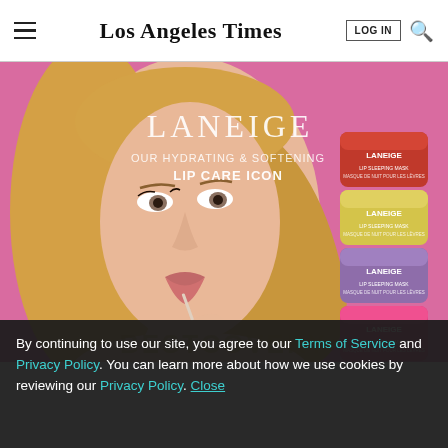Los Angeles Times
[Figure (photo): LANEIGE advertisement featuring a blonde woman applying lip gloss on a pink background, with four stacked Laneige lip sleeping mask jars (red, yellow, purple, pink) on the right side. Text reads: LANEIGE OUR HYDRATING & SOFTENING LIP CARE ICON]
By continuing to use our site, you agree to our Terms of Service and Privacy Policy. You can learn more about how we use cookies by reviewing our Privacy Policy. Close